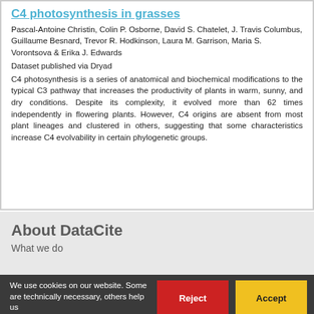C4 photosynthesis in grasses
Pascal-Antoine Christin, Colin P. Osborne, David S. Chatelet, J. Travis Columbus, Guillaume Besnard, Trevor R. Hodkinson, Laura M. Garrison, Maria S. Vorontsova & Erika J. Edwards
Dataset published via Dryad
C4 photosynthesis is a series of anatomical and biochemical modifications to the typical C3 pathway that increases the productivity of plants in warm, sunny, and dry conditions. Despite its complexity, it evolved more than 62 times independently in flowering plants. However, C4 origins are absent from most plant lineages and clustered in others, suggesting that some characteristics increase C4 evolvability in certain phylogenetic groups.
About DataCite
What we do
We use cookies on our website. Some are technically necessary, others help us...
Reject
Accept